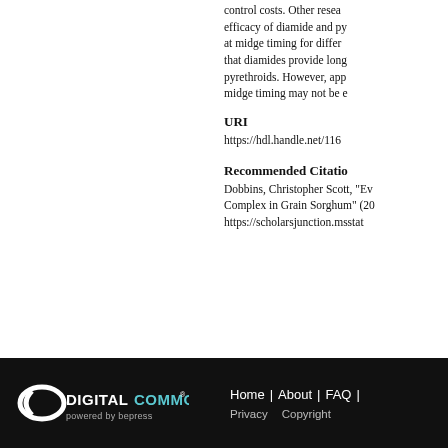control costs. Other resea efficacy of diamide and py at midge timing for differ that diamides provide long pyrethroids. However, app midge timing may not be e
URI
https://hdl.handle.net/116
Recommended Citation
Dobbins, Christopher Scott, "Ev Complex in Grain Sorghum" (20 https://scholarsjunction.msstat
Home | About | FAQ |  Privacy  Copyright